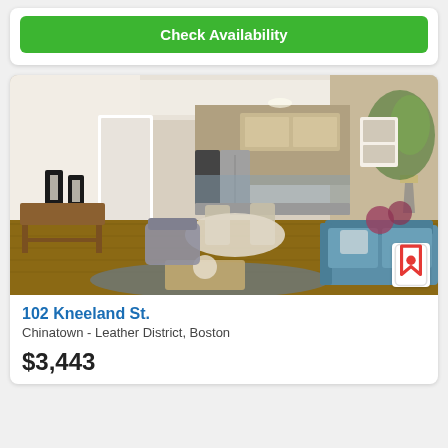Check Availability
[Figure (photo): Interior photo of a modern apartment living room with open kitchen, dining area, hardwood floors, and contemporary furnishings]
102 Kneeland St.
Chinatown - Leather District, Boston
$3,443